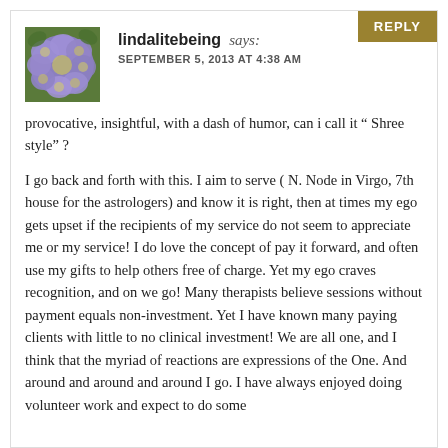REPLY
[Figure (photo): Avatar photo of a purple hydrangea flower]
lindalitebeing says:
SEPTEMBER 5, 2013 AT 4:38 AM
provocative, insightful, with a dash of humor, can i call it “ Shree style” ?

I go back and forth with this. I aim to serve ( N. Node in Virgo, 7th house for the astrologers) and know it is right, then at times my ego gets upset if the recipients of my service do not seem to appreciate me or my service! I do love the concept of pay it forward, and often use my gifts to help others free of charge. Yet my ego craves recognition, and on we go! Many therapists believe sessions without payment equals non-investment. Yet I have known many paying clients with little to no clinical investment! We are all one, and I think that the myriad of reactions are expressions of the One. And around and around and around I go. I have always enjoyed doing volunteer work and expect to do some